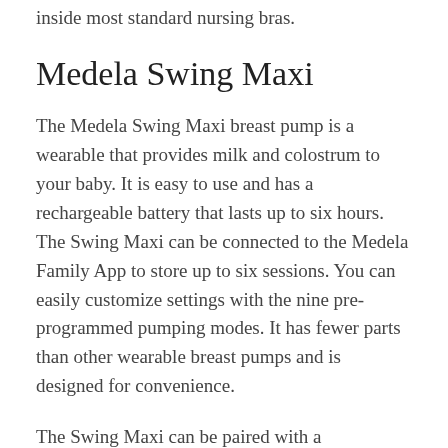inside most standard nursing bras.
Medela Swing Maxi
The Medela Swing Maxi breast pump is a wearable that provides milk and colostrum to your baby. It is easy to use and has a rechargeable battery that lasts up to six hours. The Swing Maxi can be connected to the Medela Family App to store up to six sessions. You can easily customize settings with the nine pre-programmed pumping modes. It has fewer parts than other wearable breast pumps and is designed for convenience.
The Swing Maxi can be paired with a Bluetooth(r), such as your smartphone or tablet. Once paired, the Swing Maxi will turn blue and